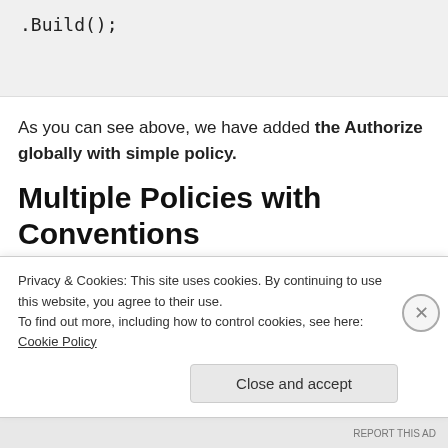.Build();
As you can see above, we have added the Authorize globally with simple policy.
Multiple Policies with Conventions
What if you need a separate policy for Controllers and API controllers?
Privacy & Cookies: This site uses cookies. By continuing to use this website, you agree to their use. To find out more, including how to control cookies, see here: Cookie Policy
Close and accept